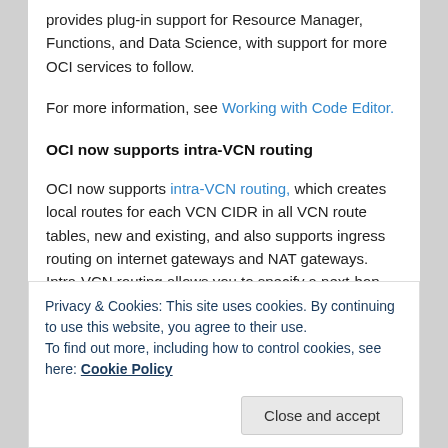provides plug-in support for Resource Manager, Functions, and Data Science, with support for more OCI services to follow.
For more information, see Working with Code Editor.
OCI now supports intra-VCN routing
OCI now supports intra-VCN routing, which creates local routes for each VCN CIDR in all VCN route tables, new and existing, and also supports ingress routing on internet gateways and NAT gateways. Intra-VCN routing allows you to specify a next-hop private IP address within a VCN for traffic destined to an IP address range that overlaps or
Privacy & Cookies: This site uses cookies. By continuing to use this website, you agree to their use.
To find out more, including how to control cookies, see here: Cookie Policy